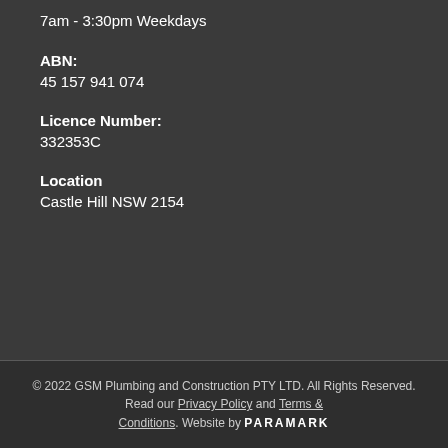7am - 3:30pm Weekdays
ABN:
45 157 941 074
Licence Number:
332353C
Location
Castle Hill NSW 2154
© 2022 GSM Plumbing and Construction PTY LTD. All Rights Reserved. Read our Privacy Policy and Terms & Conditions. Website by PARAMARK